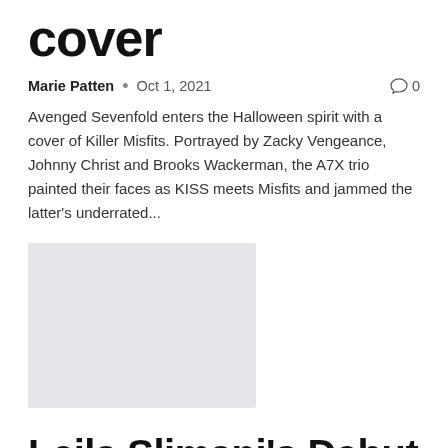cover
Marie Patten  •  Oct 1, 2021   💬 0
Avenged Sevenfold enters the Halloween spirit with a cover of Killer Misfits. Portrayed by Zacky Vengeance, Johnny Christ and Brooks Wackerman, the A7X trio painted their faces as KISS meets Misfits and jammed the latter's underrated...
[Figure (photo): Thumbnail image placeholder (light gray rectangle)]
Leila Slimani's Debut Novel in Planned Moroccan Trilogy is High-Level Historical Drama |